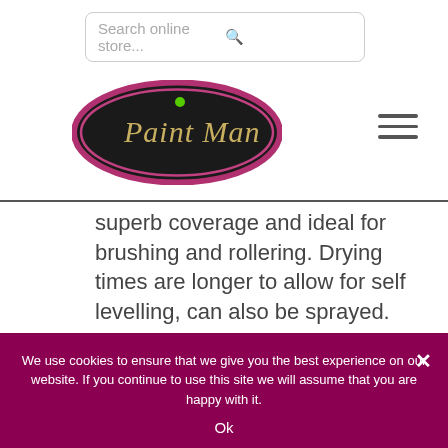[Figure (other): Search bar with magnifying glass icon and placeholder text 'Search online store...']
[Figure (logo): Paint Man logo — oval shape with dark background, pink/maroon border, cursive text 'Paint Man' with green dot accent]
superb coverage and ideal for brushing and rollering. Drying times are longer to allow for self levelling, can also be sprayed.
Quick drying Enamel –
We use cookies to ensure that we give you the best experience on our website. If you continue to use this site we will assume that you are happy with it.
Ok